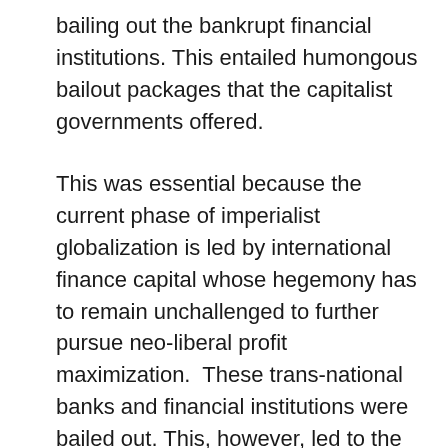bailing out the bankrupt financial institutions. This entailed humongous bailout packages that the capitalist governments offered.
This was essential because the current phase of imperialist globalization is led by international finance capital whose hegemony has to remain unchallenged to further pursue neo-liberal profit maximization.  These trans-national banks and financial institutions were bailed out. This, however, led to the next stage of the crisis where corporate insolvencies were converted into sovereign insolvencies.  Global capitalism is now seeking to emerge from this stage of the crisis created by threatening sovereign insolvencies